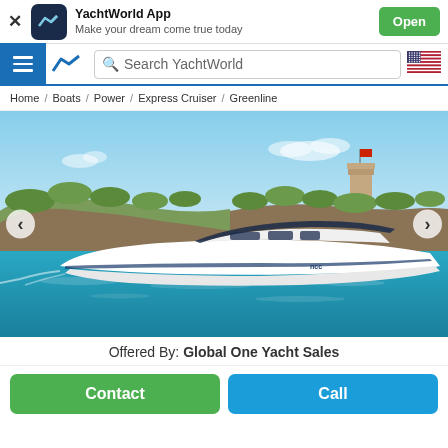YachtWorld App — Make your dream come true today
Search YachtWorld
Home / Boats / Power / Express Cruiser / Greenline
[Figure (photo): A white express cruiser yacht (Greenline) on turquoise water, with rocky Mediterranean coastline and blue sky in the background.]
Offered By: Global One Yacht Sales
Contact
Call